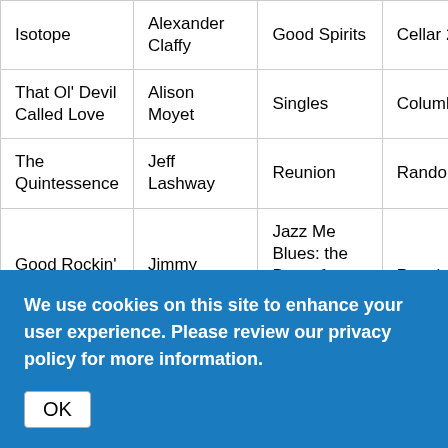| Song | Artist | Album | Label |
| --- | --- | --- | --- |
| Isotope | Alexander Claffy | Good Spirits | Cellar… |
| That Ol' Devil Called Love | Alison Moyet | Singles | Columb… |
| The Quintessence | Jeff Lashway | Reunion | Random… |
| Good Rockin' Tonight | Jimmy Witherspoon | Jazz Me Blues: the Best of Jimmy Witherspoon | Prestig… |
| Mount Harissa | Duke Ellington | The Far East Suite | Bluebi… |
We use cookies on this site to enhance your user experience. Please review our privacy policy for more information.